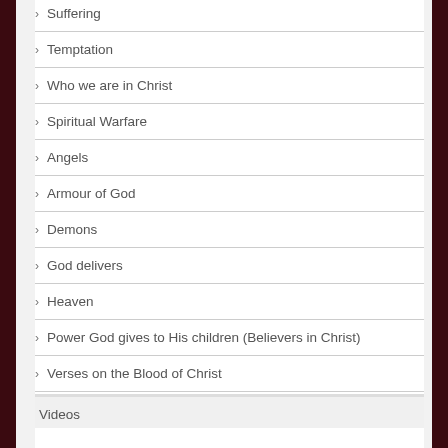Suffering
Temptation
Who we are in Christ
Spiritual Warfare
Angels
Armour of God
Demons
God delivers
Heaven
Power God gives to His children (Believers in Christ)
Verses on the Blood of Christ
Videos